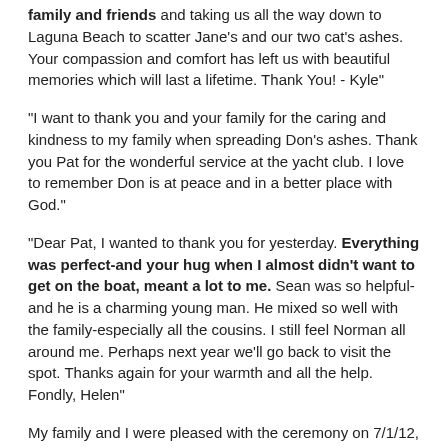family and friends and taking us all the way down to Laguna Beach to scatter Jane's and our two cat's ashes. Your compassion and comfort has left us with beautiful memories which will last a lifetime. Thank You! - Kyle"
"I want to thank you and your family for the caring and kindness to my family when spreading Don's ashes. Thank you Pat for the wonderful service at the yacht club. I love to remember Don is at peace and in a better place with God."
"Dear Pat, I wanted to thank you for yesterday. Everything was perfect-and your hug when I almost didn't want to get on the boat, meant a lot to me. Sean was so helpful-and he is a charming young man. He mixed so well with the family-especially all the cousins. I still feel Norman all around me. Perhaps next year we'll go back to visit the spot. Thanks again for your warmth and all the help.
Fondly, Helen"
My family and I were pleased with the ceremony on 7/1/12, for my husband, Ed. this is exactly how he wanted to leave this world. And your ceremony, and you, and your son, did a wonderful job and made our day a memorable one.
Sincerely, Beverly"
"Pat, I want to thank you and Gale for your generosity, hospitality and kindness to all of us on Friday. It is a day we will remember, and we could not have done it without you. The ceremony was beautiful and peaceful, and I think Donna would have been glad to know her ashes